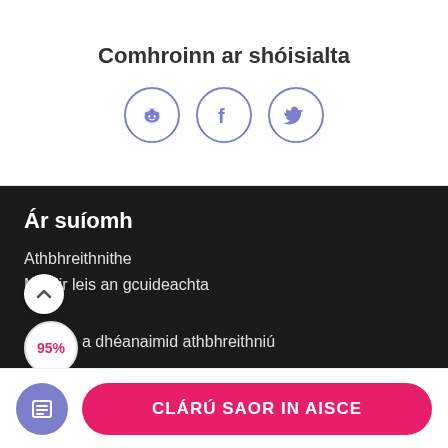Comhroinn ar shóisialta
[Figure (illustration): Three social media icon buttons in circles: Reddit, Facebook, Twitter]
Ár suíomh
Athbhreithnithe
Maidir leis an gcuideachta
95% a dhéanaimid athbhreithniú
CLÁRÚ SAOR IN AISCE